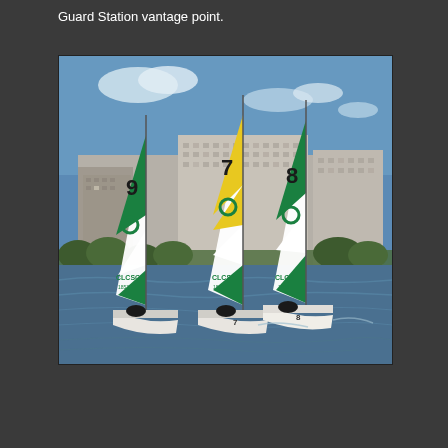Guard Station vantage point.
[Figure (photo): Three sailboats with white and green sails numbered 9, 7, and 8 sailing on a river or lake with a city skyline of tall apartment/hotel buildings in the background under a partly cloudy blue sky. The sails show 'CLCSC' text and registration numbers. The boat numbered 7 has a yellow and green sail pattern while 9 and 8 have white and green. The water is choppy.]